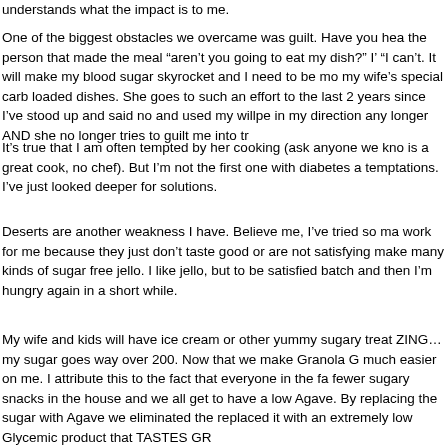understands what the impact is to me.
One of the biggest obstacles we overcame was guilt. Have you hea the person that made the meal “aren’t you going to eat my dish?” I’ “I can’t. It will make my blood sugar skyrocket and I need to be mo my wife’s special carb loaded dishes. She goes to such an effort to the last 2 years since I’ve stood up and said no and used my willp in my direction any longer AND she no longer tries to guilt me into tr
It’s true that I am often tempted by her cooking (ask anyone we kno is a great cook, no chef). But I’m not the first one with diabetes a temptations. I’ve just looked deeper for solutions.
Deserts are another weakness I have. Believe me, I’ve tried so ma work for me because they just don’t taste good or are not satisfying make many kinds of sugar free jello. I like jello, but to be satisfied batch and then I’m hungry again in a short while.
My wife and kids will have ice cream or other yummy sugary treat ZING…my sugar goes way over 200. Now that we make Granola G much easier on me. I attribute this to the fact that everyone in the fa fewer sugary snacks in the house and we all get to have a low Agave. By replacing the sugar with Agave we eliminated the replaced it with an extremely low Glycemic product that TASTES GR